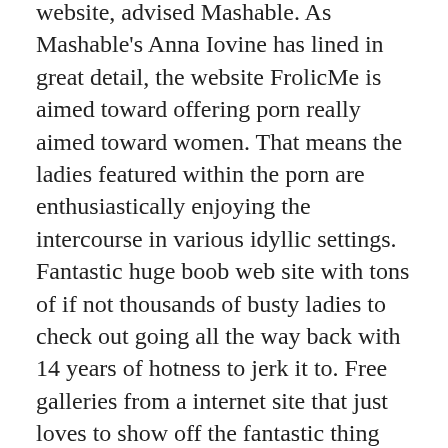website, advised Mashable. As Mashable's Anna Iovi­ne has lined in great detail, the website FrolicMe is aimed toward offering porn really aimed toward women. That means the ladies featured within the porn are enthusiastically enjoying the intercourse in various idyllic settings. Fantastic huge boob web site with tons of if not thousands of busty ladies to check out going all the way back with 14 years of hotness to jerk it to. Free galleries from a internet site that just loves to show off the fantastic thing about the feminine physique. HQBabes updates every day with a new gallery and allows you to look by way of over a dozen skilled pictures of unimaginable girls in action.
Sure, individuals may not just like the setup and layout of EroticBeauties, however they'll respect its simplicity and ease of use. Boobs Land free gallery porn with random boob pics captured at a detailed vary. New grownup pics are added daily and there are ranks...